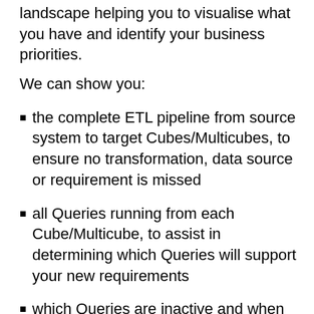landscape helping you to visualise what you have and identify your business priorities.
We can show you:
the complete ETL pipeline from source system to target Cubes/Multicubes, to ensure no transformation, data source or requirement is missed
all Queries running from each Cube/Multicube, to assist in determining which Queries will support your new requirements
which Queries are inactive and when each active Query was last used, to identify obsolete